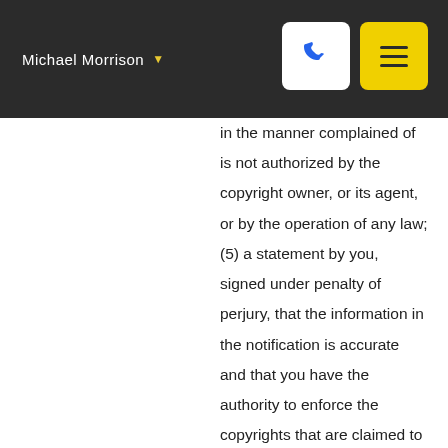Michael Morrison
in the manner complained of is not authorized by the copyright owner, or its agent, or by the operation of any law; (5) a statement by you, signed under penalty of perjury, that the information in the notification is accurate and that you have the authority to enforce the copyrights that are claimed to be infringed; and (6) a physical or electronic signature of the copyright owner or a